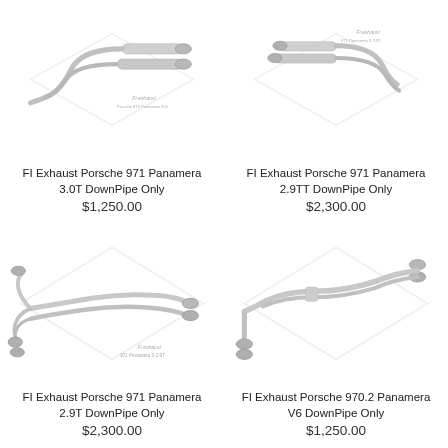[Figure (photo): FI Exhaust Porsche 971 Panamera 3.0T DownPipe Only product photo showing stainless steel exhaust pipes with FI logo watermark]
FI Exhaust Porsche 971 Panamera 3.0T DownPipe Only
$1,250.00
[Figure (photo): FI Exhaust Porsche 971 Panamera 2.9TT DownPipe Only product photo showing stainless steel exhaust pipes with FI logo watermark]
FI Exhaust Porsche 971 Panamera 2.9TT DownPipe Only
$2,300.00
[Figure (photo): FI Exhaust Porsche 971 Panamera 2.9T DownPipe Only product photo showing full stainless steel exhaust system with FI logo watermark labeled 971 Panamera S 2.9T]
FI Exhaust Porsche 971 Panamera 2.9T DownPipe Only
$2,300.00
[Figure (photo): FI Exhaust Porsche 970.2 Panamera V6 DownPipe Only product photo showing stainless steel exhaust system with FI logo watermark]
FI Exhaust Porsche 970.2 Panamera V6 DownPipe Only
$1,250.00